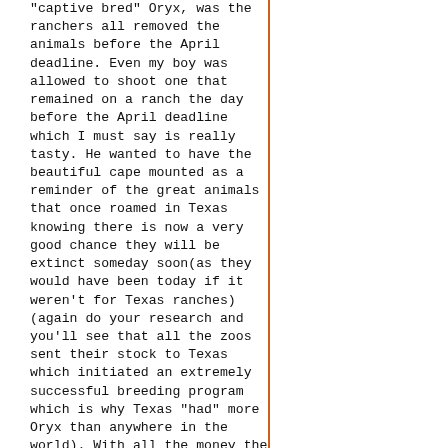"captive bred" Oryx, was the ranchers all removed the animals before the April deadline. Even my boy was allowed to shoot one that remained on a ranch the day before the April deadline which I must say is really tasty. He wanted to have the beautiful cape mounted as a reminder of the great animals that once roamed in Texas knowing there is now a very good chance they will be extinct someday soon(as they would have been today if it weren't for Texas ranches)(again do your research and you'll see that all the zoos sent their stock to Texas which initiated an extremely successful breeding program which is why Texas "had" more Oryx than anywhere in the world). With all the money the "crazy animal people" contributed to Ms. Feral, the Oryx have been wiped out down here in Texas. We used to have over 18,000 registered Oryx in Texas(none of the rancher's I knew were part of the registry system so the numbers were actually much